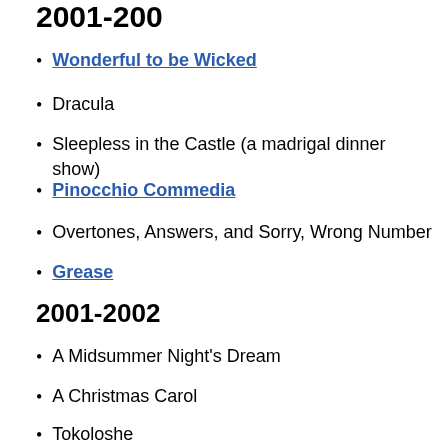2001-200[partial, cut off at top]
Wonderful to be Wicked
Dracula
Sleepless in the Castle (a madrigal dinner show)
Pinocchio Commedia
Overtones, Answers, and Sorry, Wrong Number
Grease
2001-2002
A Midsummer Night's Dream
A Christmas Carol
Tokoloshe
Compleat Works of William Shakespeare (Abridged)
You're a Good Man, Charlie Brown
2000-2001